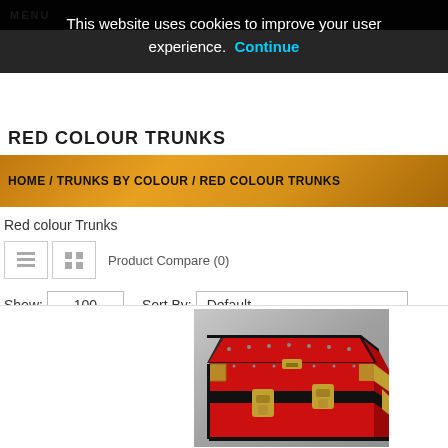MENU
This website uses cookies to improve your user experience. Continue
RED COLOUR TRUNKS
HOME / TRUNKS BY COLOUR / RED COLOUR TRUNKS
Red colour Trunks
Product Compare (0)
Show: 100   Sort By: Default
[Figure (photo): A red trunk/chest with black trim, brass hardware clasps and corner brackets on a grey background]